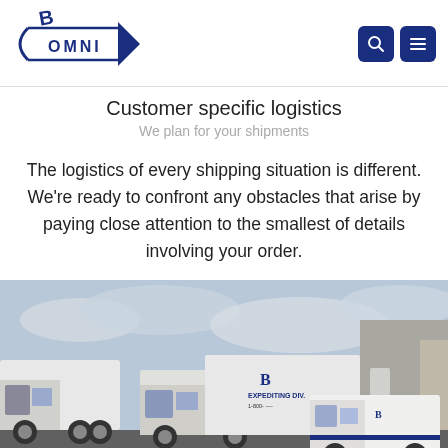[Figure (logo): Omni B logo with arrow and company name OMNI in blue]
Customer specific logistics
We plan for your shipments
The logistics of every shipping situation is different. We're ready to confront any obstacles that arise by paying close attention to the smallest of details involving your order.
[Figure (photo): Photo of multiple white delivery trucks and a cargo van parked at a logistics facility with a cloudy sky. The rightmost van shows the B Expediting Div. logo and phone number.]